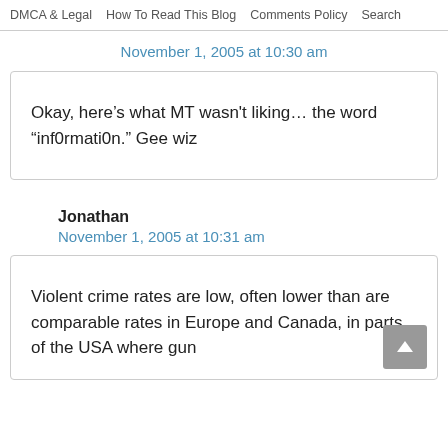DMCA & Legal   How To Read This Blog   Comments Policy   Search
November 1, 2005 at 10:30 am
Okay, here’s what MT wasn't liking… the word “inf0rmati0n.” Gee wiz
Jonathan
November 1, 2005 at 10:31 am
Violent crime rates are low, often lower than are comparable rates in Europe and Canada, in parts of the USA where gun